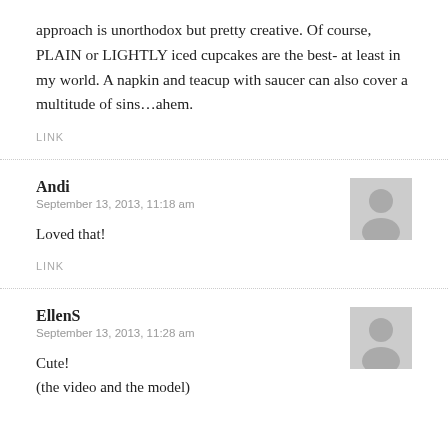approach is unorthodox but pretty creative. Of course, PLAIN or LIGHTLY iced cupcakes are the best- at least in my world. A napkin and teacup with saucer can also cover a multitude of sins…ahem.
LINK
Andi
September 13, 2013, 11:18 am
Loved that!
LINK
EllenS
September 13, 2013, 11:28 am
Cute!
(the video and the model)